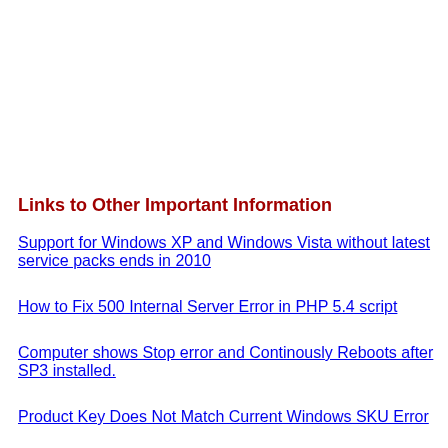Links to Other Important Information
Support for Windows XP and Windows Vista without latest service packs ends in 2010
How to Fix 500 Internal Server Error in PHP 5.4 script
Computer shows Stop error and Continously Reboots after SP3 installed.
Product Key Does Not Match Current Windows SKU Error